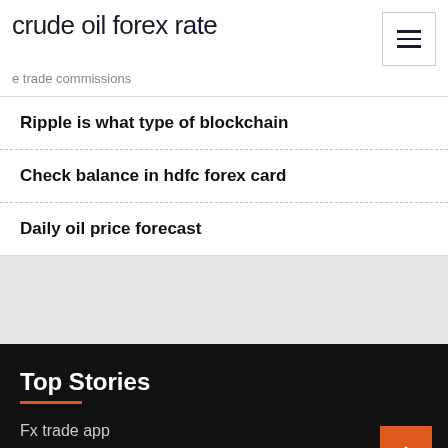crude oil forex rate
e trade commissions
Ripple is what type of blockchain
Check balance in hdfc forex card
Daily oil price forecast
Top Stories
Fx trade app